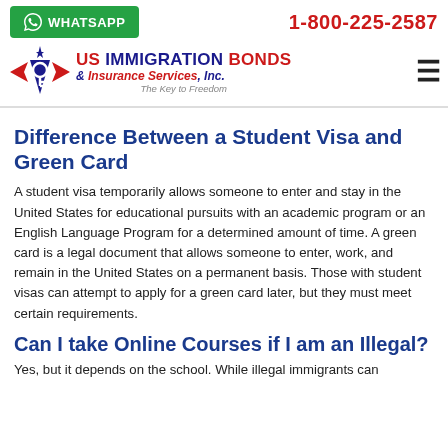WHATSAPP | 1-800-225-2587
[Figure (logo): US Immigration Bonds & Insurance Services, Inc. logo with eagle emblem and tagline 'The Key to Freedom']
Difference Between a Student Visa and Green Card
A student visa temporarily allows someone to enter and stay in the United States for educational pursuits with an academic program or an English Language Program for a determined amount of time. A green card is a legal document that allows someone to enter, work, and remain in the United States on a permanent basis. Those with student visas can attempt to apply for a green card later, but they must meet certain requirements.
Can I take Online Courses if I am an Illegal?
Yes, but it depends on the school. While illegal immigrants can